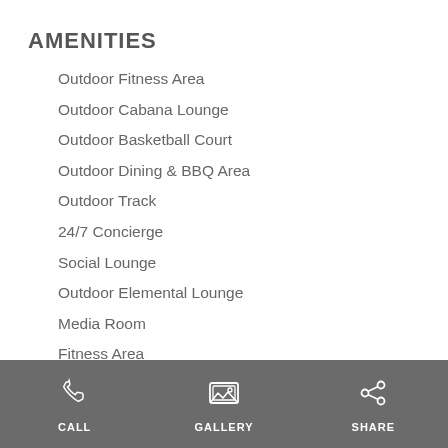AMENITIES
Outdoor Fitness Area
Outdoor Cabana Lounge
Outdoor Basketball Court
Outdoor Dining & BBQ Area
Outdoor Track
24/7 Concierge
Social Lounge
Outdoor Elemental Lounge
Media Room
Fitness Area
Party Rooms with Kitchens
CALL   GALLERY   SHARE